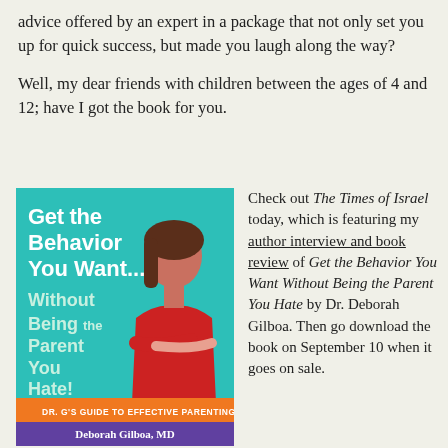advice offered by an expert in a package that not only set you up for quick success, but made you laugh along the way?
Well, my dear friends with children between the ages of 4 and 12; have I got the book for you.
[Figure (photo): Book cover of 'Get the Behavior You Want... Without Being the Parent You Hate!' by Deborah Gilboa, MD. Shows the author in a red dress with text on a teal/turquoise background. Bottom strip reads 'DR. G'S GUIDE TO EFFECTIVE PARENTING' in orange, and purple strip at bottom with author name.]
Check out The Times of Israel today, which is featuring my author interview and book review of Get the Behavior You Want Without Being the Parent You Hate by Dr. Deborah Gilboa. Then go download the book on September 10 when it goes on sale.